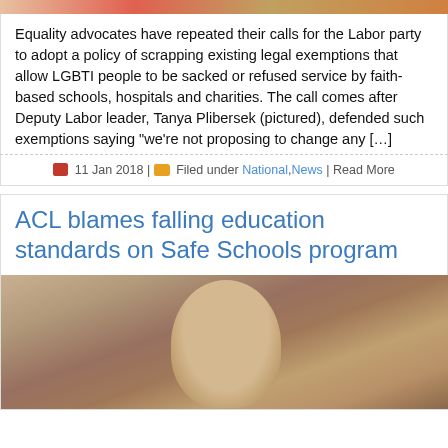[Figure (photo): Top cropped image, partially visible, colorful]
Equality advocates have repeated their calls for the Labor party to adopt a policy of scrapping existing legal exemptions that allow LGBTI people to be sacked or refused service by faith-based schools, hospitals and charities. The call comes after Deputy Labor leader, Tanya Plibersek (pictured), defended such exemptions saying “we’re not proposing to change any […]
11 Jan 2018 | Filed under National, News | Read More
ACL blames falling education standards on Safe Schools program
[Figure (photo): Portrait photo of a middle-aged man with grey/brown hair against a brown background]